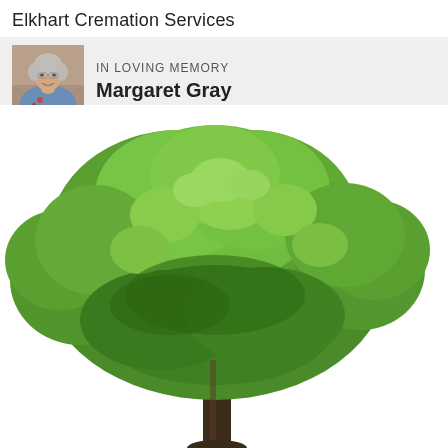Elkhart Cremation Services
IN LOVING MEMORY
Margaret Gray
[Figure (photo): Portrait photo of Margaret Gray, an elderly woman with short gray hair wearing a blue shawl, smiling, in an indoor setting]
[Figure (photo): Large green deciduous tree with full leafy canopy on a white background, trunk visible at the bottom center]